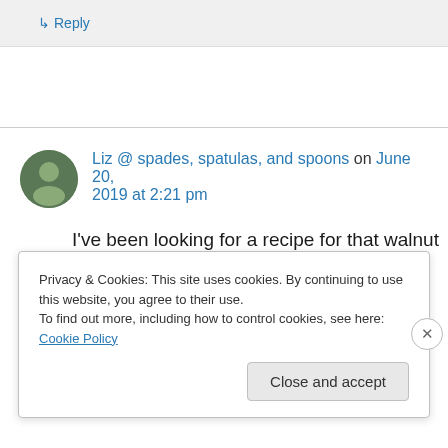↳ Reply
Liz @ spades, spatulas, and spoons on June 20, 2019 at 2:21 pm
I've been looking for a recipe for that walnut spread, one without bread crumbs. This looks
Privacy & Cookies: This site uses cookies. By continuing to use this website, you agree to their use.
To find out more, including how to control cookies, see here: Cookie Policy
Close and accept